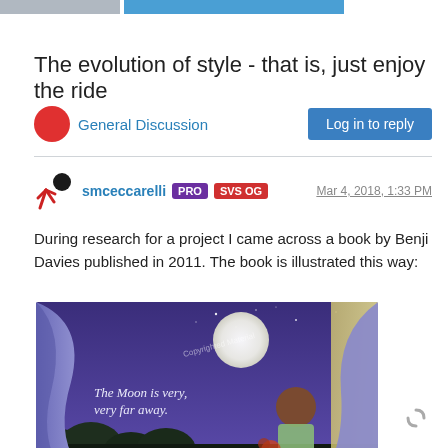The evolution of style - that is, just enjoy the ride
General Discussion   Log in to reply
smceccarelli PRO SVS OG   Mar 4, 2018, 1:33 PM
During research for a project I came across a book by Benji Davies published in 2011. The book is illustrated this way:
[Figure (illustration): Illustrated book page showing a child looking out a window at a full moon in a night sky, with curtains framing the scene. Text reads 'The Moon is very, very far away.' Watermark 'Copyrighted Material' visible.]